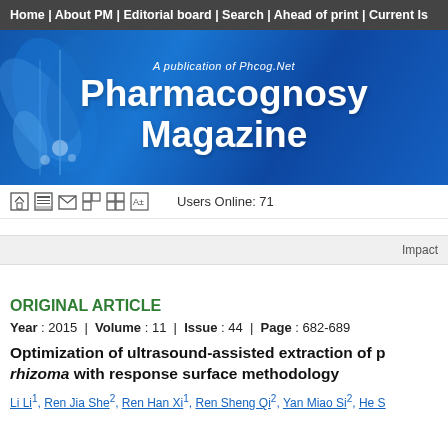Home | About PM | Editorial board | Search | Ahead of print | Current Issue
[Figure (illustration): Pharmacognosy Magazine banner with blue floral design. Text: 'A publication of Phcog.Net' and 'Pharmacognosy Magazine' in white on blue gradient background.]
Users Online: 71
Impact
ORIGINAL ARTICLE
Year : 2015 | Volume : 11 | Issue : 44 | Page : 682-689
Optimization of ultrasound-assisted extraction of p- rhizoma with response surface methodology
Li Li 1, Ren Jia She 2, Ren Han Xi 1, Ren Sheng Qi 2, Yan Miao Si 2, He S...